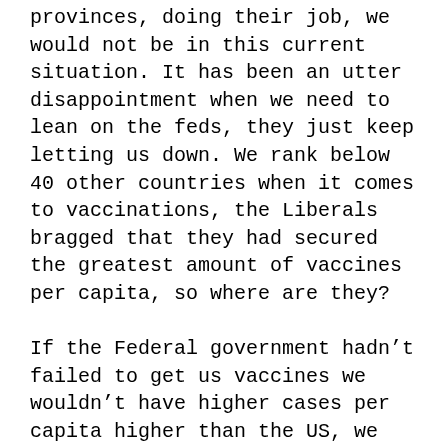provinces, doing their job, we would not be in this current situation. It has been an utter disappointment when we need to lean on the feds, they just keep letting us down. We rank below 40 other countries when it comes to vaccinations, the Liberals bragged that they had secured the greatest amount of vaccines per capita, so where are they?

If the Federal government hadn't failed to get us vaccines we wouldn't have higher cases per capita higher than the US, we wouldn't be having to take steps back, and we wouldn't be fighting with each other over the next steps, or the best way to getting